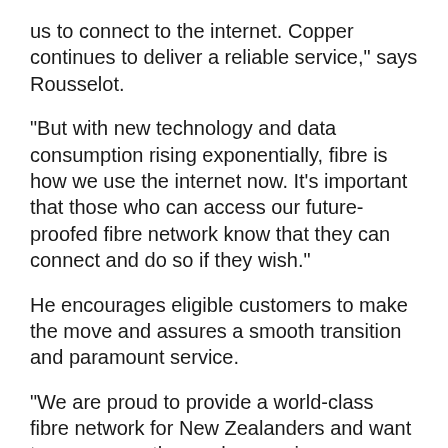us to connect to the internet. Copper continues to deliver a reliable service," says Rousselot.
"But with new technology and data consumption rising exponentially, fibre is how we use the internet now. It's important that those who can access our future-proofed fibre network know that they can connect and do so if they wish."
He encourages eligible customers to make the move and assures a smooth transition and paramount service.
"We are proud to provide a world-class fibre network for New Zealanders and want to encourage those who remain on copper to contact their provider and make the change. If you live or work in a location where fibre is available and today use a copper-based phone and broadband service, you may want to get ahead of the changes coming by making a